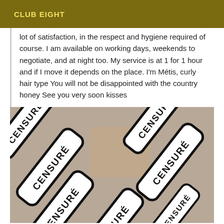CLUB EIGHT
lot of satisfaction, in the respect and hygiene required of course. I am available on working days, weekends to negotiate, and at night too. My service is at 1 for 1 hour and if I move it depends on the place. I'm Métis, curly hair type You will not be disappointed with the country honey See you very soon kisses
[Figure (photo): Photo of multiple white censure/CENSURÉ sticker labels with black bold text arranged overlapping at various angles, with a room background visible.]